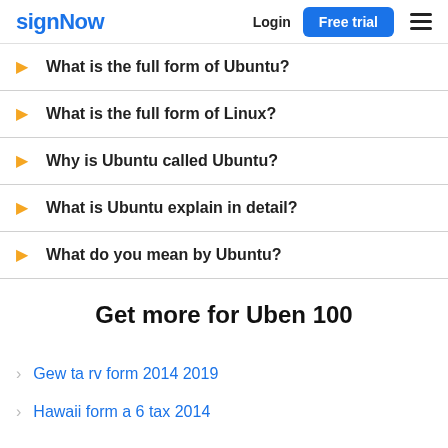signNow  Login  Free trial
What is the full form of Ubuntu?
What is the full form of Linux?
Why is Ubuntu called Ubuntu?
What is Ubuntu explain in detail?
What do you mean by Ubuntu?
Get more for Uben 100
Gew ta rv form 2014 2019
Hawaii form a 6 tax 2014